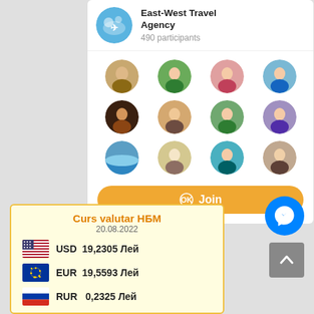[Figure (screenshot): East-West Travel Agency social group card with logo, 12 member avatars in a 4x3 grid, and an orange Join button. Below: currency exchange rates widget showing USD 19,2305 Лей, EUR 19,5593 Лей, RUR 0,2325 Лей as of 20.08.2022. Also visible: Facebook Messenger floating button and scroll-to-top button.]